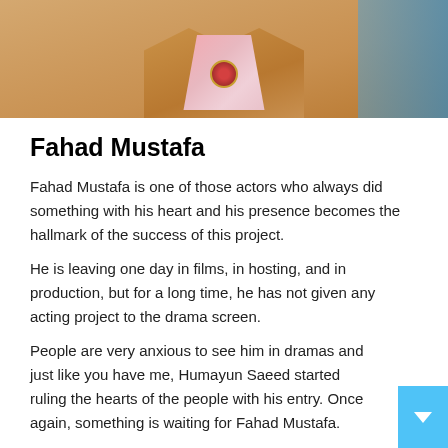[Figure (photo): Photo of Fahad Mustafa wearing a tan/camel jacket over a pink floral shirt with a round pendant necklace, with a blue background on the right side]
Fahad Mustafa
Fahad Mustafa is one of those actors who always did something with his heart and his presence becomes the hallmark of the success of this project.
He is leaving one day in films, in hosting, and in production, but for a long time, he has not given any acting project to the drama screen.
People are very anxious to see him in dramas and just like you have me, Humayun Saeed started ruling the hearts of the people with his entry. Once again, something is waiting for Fahad Mustafa.